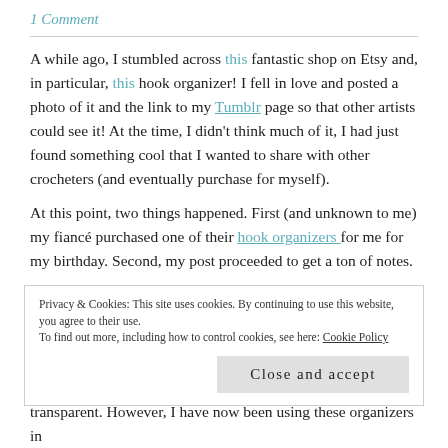1 Comment
A while ago, I stumbled across this fantastic shop on Etsy and, in particular, this hook organizer! I fell in love and posted a photo of it and the link to my Tumblr page so that other artists could see it! At the time, I didn't think much of it, I had just found something cool that I wanted to share with other crocheters (and eventually purchase for myself).
At this point, two things happened. First (and unknown to me) my fiancé purchased one of their hook organizers for me for my birthday. Second, my post proceeded to get a ton of notes.
Privacy & Cookies: This site uses cookies. By continuing to use this website, you agree to their use.
To find out more, including how to control cookies, see here: Cookie Policy
transparent. However, I have now been using these organizers in